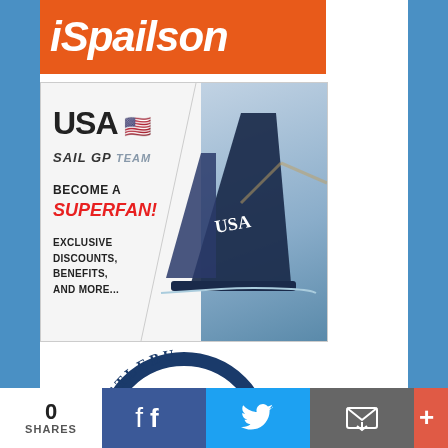[Figure (logo): IDpailson / iSailor orange logo banner, white bold italic text on orange background, partially cropped at top]
[Figure (infographic): USA SailGP Team promotional ad. Left side white: 'USA' in large bold text with US flag emoji, 'SAIL GP TEAM' in bold italic, 'BECOME A SUPERFAN!' in bold with red SUPERFAN, 'EXCLUSIVE DISCOUNTS, BENEFITS, AND MORE...' Right side: photo of a SailGP catamaran foiling with Golden Gate Bridge in background.]
[Figure (logo): Scuttlebutt circular logo, blue ring with white text, partially visible at bottom of page]
0
SHARES